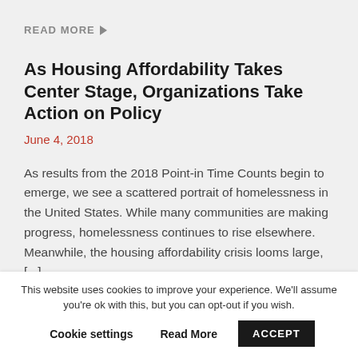READ MORE ▶
As Housing Affordability Takes Center Stage, Organizations Take Action on Policy
June 4, 2018
As results from the 2018 Point-in Time Counts begin to emerge, we see a scattered portrait of homelessness in the United States. While many communities are making progress, homelessness continues to rise elsewhere. Meanwhile, the housing affordability crisis looms large, [...]
This website uses cookies to improve your experience. We'll assume you're ok with this, but you can opt-out if you wish.
Cookie settings   Read More   ACCEPT